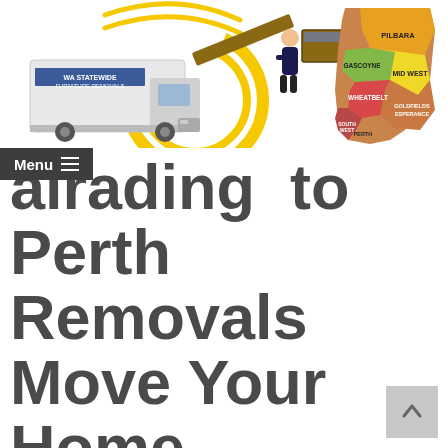[Figure (illustration): Banner with three images: a removal truck with yellow arc graphic and company logo, two men carrying furniture on a ramp, and a map of Western Australia with colored regions labeled Pilbara, Gascoyne, Mid West, Goldfields-Esperance, Wheatbelt, and South West/Perth]
Menu ≡ airading to Perth Removals Move Your Home or Office Furniture and